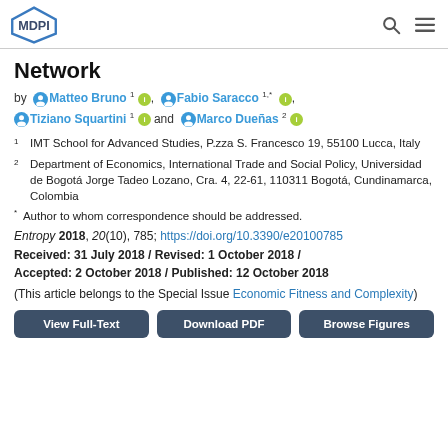MDPI
Network
by Matteo Bruno 1, Fabio Saracco 1,* , Tiziano Squartini 1 and Marco Dueñas 2
1 IMT School for Advanced Studies, P.zza S. Francesco 19, 55100 Lucca, Italy
2 Department of Economics, International Trade and Social Policy, Universidad de Bogotá Jorge Tadeo Lozano, Cra. 4, 22-61, 110311 Bogotá, Cundinamarca, Colombia
* Author to whom correspondence should be addressed.
Entropy 2018, 20(10), 785; https://doi.org/10.3390/e20100785
Received: 31 July 2018 / Revised: 1 October 2018 / Accepted: 2 October 2018 / Published: 12 October 2018
(This article belongs to the Special Issue Economic Fitness and Complexity)
View Full-Text | Download PDF | Browse Figures